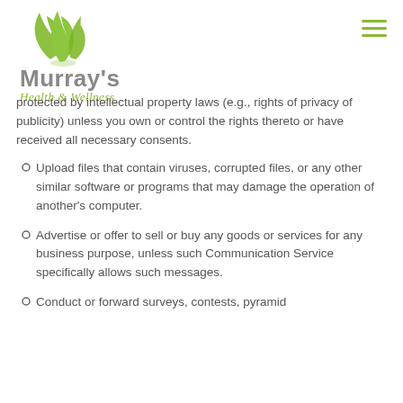Murray's Health & Wellness
protected by intellectual property laws (e.g., rights of privacy of publicity) unless you own or control the rights thereto or have received all necessary consents.
Upload files that contain viruses, corrupted files, or any other similar software or programs that may damage the operation of another's computer.
Advertise or offer to sell or buy any goods or services for any business purpose, unless such Communication Service specifically allows such messages.
Conduct or forward surveys, contests, pyramid